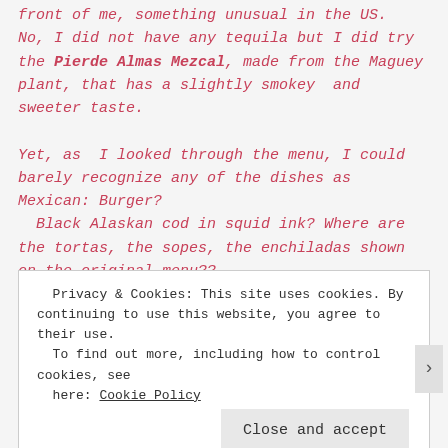front of me, something unusual in the US.  No, I did not have any tequila but I did try the Pierde Almas Mezcal, made from the Maguey plant, that has a slightly smokey  and sweeter taste.

Yet, as  I looked through the menu, I could barely recognize any of the dishes as Mexican: Burger?  Black Alaskan cod in squid ink? Where are the tortas, the sopes, the enchiladas shown on the original menu??

Fortunately, I found some pretty good guacamole with
Privacy & Cookies: This site uses cookies. By continuing to use this website, you agree to their use.
To find out more, including how to control cookies, see here: Cookie Policy

Close and accept